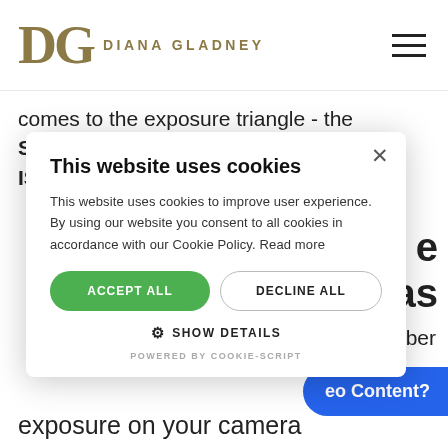[Figure (logo): Diana Gladney logo with stylized DG monogram in gold/olive serif font and 'DIANA GLADNEY' text in gold caps]
comes to the exposure triangle - the Shutter Speed, the Aperture, and the ISO.
This website uses cookies

This website uses cookies to improve user experience. By using our website you consent to all cookies in accordance with our Cookie Policy. Read more

ACCEPT ALL   DECLINE ALL

⚙ SHOW DETAILS

POWERED BY COOKIE-SCRIPT
e
eras
g number
eo Content?
exposure on your camera